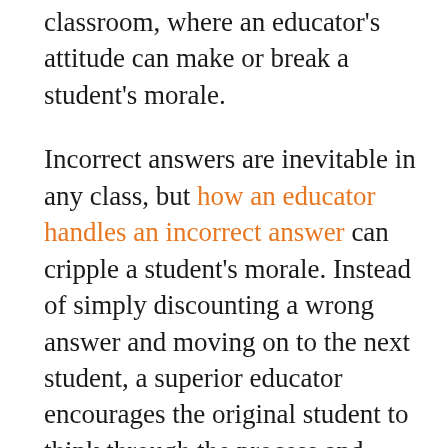classroom, where an educator's attitude can make or break a student's morale.
Incorrect answers are inevitable in any class, but how an educator handles an incorrect answer can cripple a student's morale. Instead of simply discounting a wrong answer and moving on to the next student, a superior educator encourages the original student to think through the process and come to the right answer on their own.
Encourage the student to actively learn by saying something like, “That’s good thinking. You are on the right track. Can you